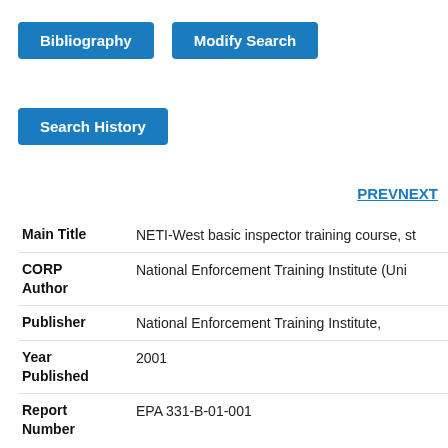Bibliography
Modify Search
Search History
PREV NEXT
| Field | Value |
| --- | --- |
| Main Title | NETI-West basic inspector training course, st |
| CORP Author | National Enforcement Training Institute (Uni |
| Publisher | National Enforcement Training Institute, |
| Year Published | 2001 |
| Report Number | EPA 331-B-01-001 |